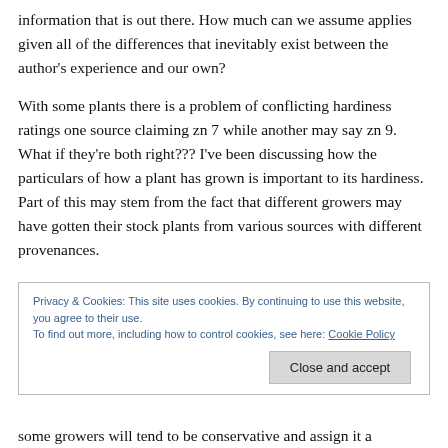information that is out there.  How much can we assume applies given all of the differences that inevitably exist between the author's experience and our own?
With some plants there is a problem of conflicting hardiness ratings one source claiming zn 7 while another may say zn 9.  What if they're both right???  I've been discussing how the particulars of how a plant has grown is important to its hardiness.  Part of this may stem from the fact that different growers may have gotten their stock plants from various sources with different provenances.
Privacy & Cookies: This site uses cookies. By continuing to use this website, you agree to their use.
To find out more, including how to control cookies, see here: Cookie Policy
Close and accept
some growers will tend to be conservative and assign it a